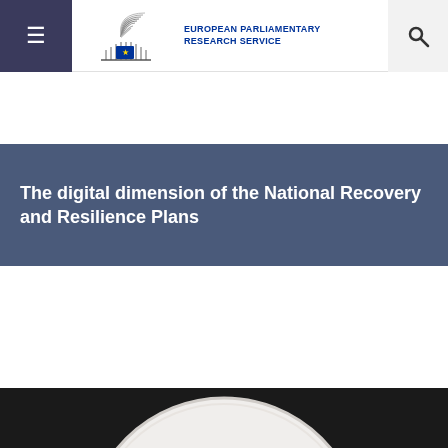European Parliamentary Research Service
The digital dimension of the National Recovery and Resilience Plans
[Figure (photo): A circular badge/button on a dark background showing text in typewriter font: 'European Day of remembrance for Victims of STALINISM AND NAZISM' and 'August 23']